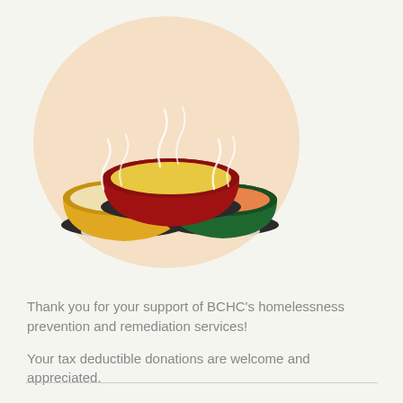[Figure (illustration): Illustration of three soup bowls with steam rising, set against a light peach circular background. A large red bowl in the center, a yellow bowl on the left, and a green bowl on the right, each with soup and spoons on dark saucers.]
Thank you for your support of BCHC's homelessness prevention and remediation services!
Your tax deductible donations are welcome and appreciated.
BCHC is an all-volunteer non-profit and receives no government funding.